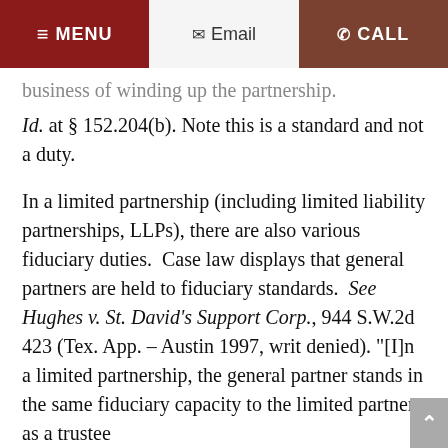≡ MENU  ✉ Email  ☎ CALL
business of winding up the partnership. Id. at § 152.204(b). Note this is a standard and not a duty.
In a limited partnership (including limited liability partnerships, LLPs), there are also various fiduciary duties.  Case law displays that general partners are held to fiduciary standards.  See Hughes v. St. David's Support Corp., 944 S.W.2d 423 (Tex. App. – Austin 1997, writ denied). "[I]n a limited partnership, the general partner stands in the same fiduciary capacity to the limited partners as a trustee